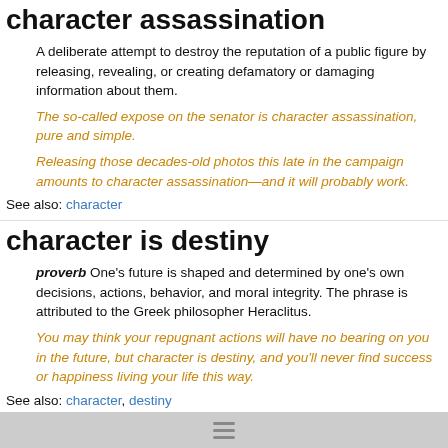character assassination
A deliberate attempt to destroy the reputation of a public figure by releasing, revealing, or creating defamatory or damaging information about them.
The so-called expose on the senator is character assassination, pure and simple.
Releasing those decades-old photos this late in the campaign amounts to character assassination—and it will probably work.
See also: character
character is destiny
proverb One's future is shaped and determined by one's own decisions, actions, behavior, and moral integrity. The phrase is attributed to the Greek philosopher Heraclitus.
You may think your repugnant actions will have no bearing on you in the future, but character is destiny, and you'll never find success or happiness living your life this way.
See also: character, destiny